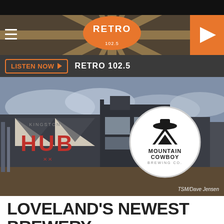[Figure (screenshot): Retro 102.5 radio station website header with sunburst background, hamburger menu, Retro logo badge, and orange play button]
[Figure (photo): Exterior photo of a building with 'HUB' in red letters and a circular Mountain Cowboy Brewing Co. logo inset. Photo credit: TSM/Dave Jensen]
TSM/Dave Jensen
LOVELAND'S NEWEST BREWERY